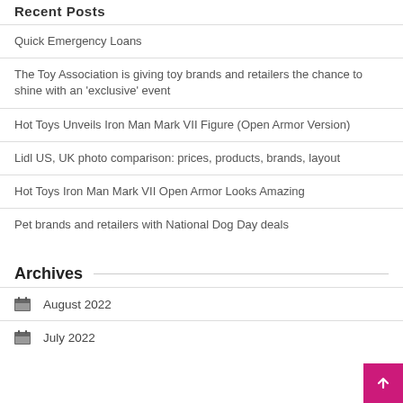Recent Posts
Quick Emergency Loans
The Toy Association is giving toy brands and retailers the chance to shine with an ‘exclusive’ event
Hot Toys Unveils Iron Man Mark VII Figure (Open Armor Version)
Lidl US, UK photo comparison: prices, products, brands, layout
Hot Toys Iron Man Mark VII Open Armor Looks Amazing
Pet brands and retailers with National Dog Day deals
Archives
August 2022
July 2022